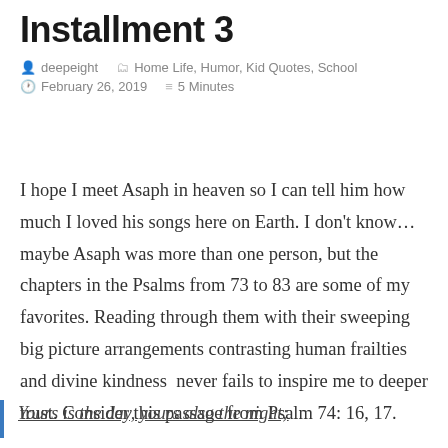Installment 3
deepeight   Home Life, Humor, Kid Quotes, School
February 26, 2019   5 Minutes
I hope I meet Asaph in heaven so I can tell him how much I loved his songs here on Earth. I don't know… maybe Asaph was more than one person, but the chapters in the Psalms from 73 to 83 are some of my favorites. Reading through them with their sweeping big picture arrangements contrasting human frailties and divine kindness  never fails to inspire me to deeper trust. Consider this passage from Psalm 74: 16, 17.
Yours is the day, yours also the night;